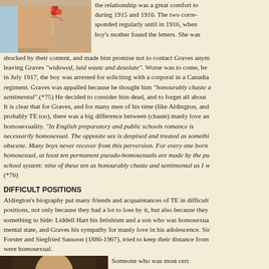[Figure (photo): Top-left photo of a person with flowers, partially cropped]
the relationship was a great comfort to during 1915 and 1916. The two corresponded regularly until in 1916, when boy's mother found the letters. She was shocked by their content, and made him promise not to contact Graves anymore, leaving Graves "widowed, laid waste and desolate". Worse was to come, because in July 1917, the boy was arrested for soliciting with a corporal in a Canadian regiment. Graves was appalled because he thought him "honourably chaste and sentimental".(*75) He decided to consider him dead, and to forget all about it. It is clear that for Graves, and for many men of his time (like Aldington, and probably TE too), there was a big difference between (chaste) manly love and homosexuality. "In English preparatory and public schools romance is necessarily homosexual. The opposite sex is despised and treated as something obscene. Many boys never recover from this perversion. For every one born homosexual, at least ten permanent pseudo-homosexuals are made by the public school system: nine of these ten as honourably chaste and sentimental as I w (*76)
DIFFICULT POSITIONS
Aldington's biography put many friends and acquaintances of TE in difficult positions, not only because they had a lot to lose by it, but also because they had something to hide: Liddell Hart his fetishism and a son who was homosexual mental state, and Graves his sympathy for manly love in his adolescence. Sir Forster and Siegfried Sassoon (1886-1967), tried to keep their distance from were homosexual.
[Figure (photo): Bottom-left photo of Sir Ronald Storrs, a bald man]
Someone who was most cert Sir Ronald Storrs (1881-19 support of the Arab Revolt a